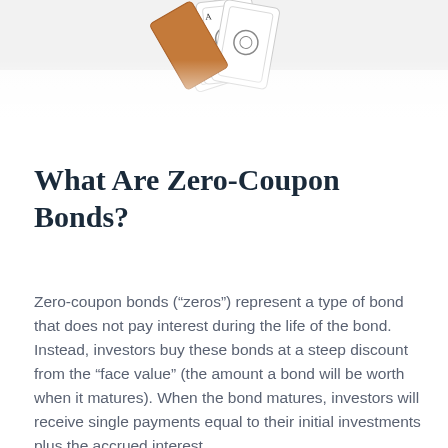[Figure (photo): Partial photo of playing cards fanned out, visible at the top of the page, cropped.]
What Are Zero-Coupon Bonds?
Zero-coupon bonds (“zeros”) represent a type of bond that does not pay interest during the life of the bond. Instead, investors buy these bonds at a steep discount from the “face value” (the amount a bond will be worth when it matures). When the bond matures, investors will receive single payments equal to their initial investments plus the accrued interest.